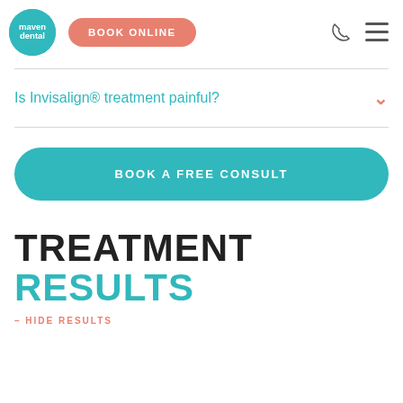[Figure (logo): Maven Dental teal circular logo with white text]
BOOK ONLINE
Is Invisalign® treatment painful?
BOOK A FREE CONSULT
TREATMENT RESULTS
– HIDE RESULTS